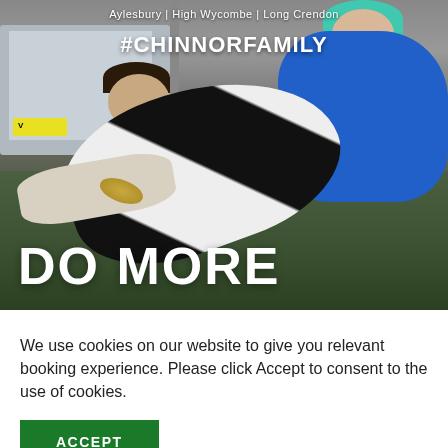[Figure (photo): Action photo of women's rugby match. A player in black and white striped jersey dives with the ball while an opponent in blue jersey attempts to tackle. Text overlays include 'Aylesbury | High Wycombe | Long Crendon' and '#CHINNORFAMILY' at the top, and 'DO MORE' in large bold white text at the bottom left.]
We use cookies on our website to give you relevant booking experience. Please click Accept to consent to the use of cookies.
ACCEPT